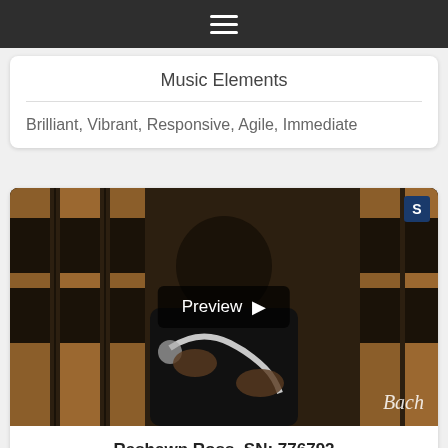Music Elements
Brilliant, Vibrant, Responsive, Agile, Immediate
[Figure (photo): Video thumbnail of Rashawn Ross holding a trumpet, with a Preview play button overlay and Bach watermark. An S badge appears in the top right corner.]
Rashawn Ross, SN: 776792
Purchased by
DJ Parson
Brilliant, Clean, Responsive, Agile, Even